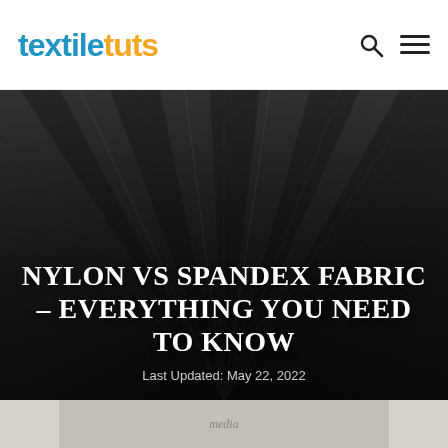textiletuts
[Figure (photo): Dark charcoal fabric with radiating folds and texture, used as hero background image]
NYLON VS SPANDEX FABRIC – EVERYTHING YOU NEED TO KNOW
Last Updated: May 22, 2022
[Figure (photo): Partially visible image at the bottom of the page, light beige/tan tones, partially cropped]